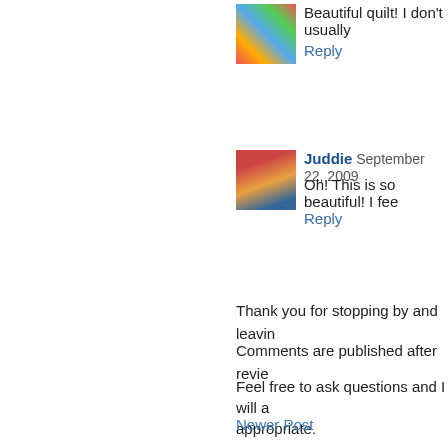[Figure (photo): Small avatar image of a quilt pattern with colorful squares]
Beautiful quilt! I don't usually
Reply
[Figure (photo): Small avatar photo of a person named Juddie wearing a colorful scarf]
Juddie  September 22, 2009
Oh! This is so beautiful! I fee
Reply
Thank you for stopping by and leavin
Comments are published after revie
Feel free to ask questions and I will a appropriate.
Newer Post
Subscribe to: Post Comments (Atom)